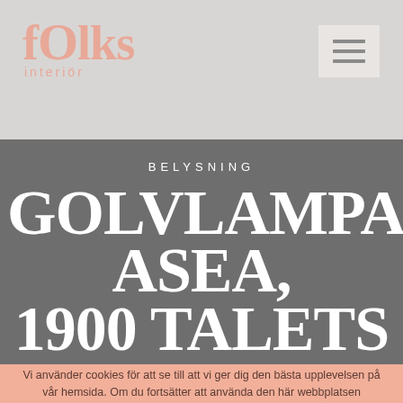[Figure (logo): fOlks interiör logo in salmon/peach color on light gray background]
[Figure (other): Hamburger menu icon - three horizontal bars on light gray square background]
BELYSNING
GOLVLAMPA, ASEA, 1900 TALETS MITT
Vi använder cookies för att se till att vi ger dig den bästa upplevelsen på vår hemsida. Om du fortsätter att använda den här webbplatsen kommer vi att anta att du godkänner detta.
Stäng